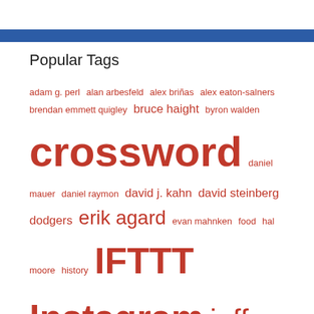Popular Tags
adam g. perl alan arbesfeld alex briñas alex eaton-salners brendan emmett quigley bruce haight byron walden crossword daniel mauer daniel raymon david j. kahn david steinberg dodgers erik agard evan mahnken food hal moore history IFTTT Instagram jeff chen jennifer nutt joe deeney joe krozel john guzzetta joy behar lynn lempel mark maclachlan mary lou guizzo matt ginsberg michael hawkins michelle kenney nyt paolo pasco patrick berry recipe robert fisher robyn weintraub sam ezersky sam